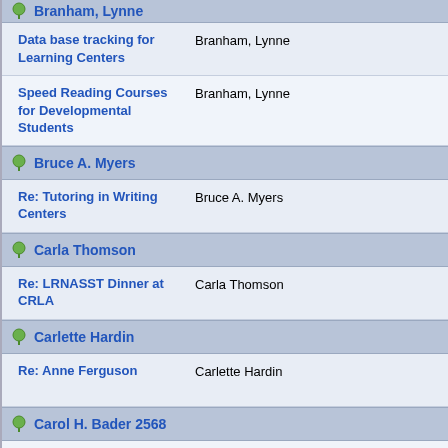Branham, Lynne (header, cut off top)
Data base tracking for Learning Centers | Branham, Lynne
Speed Reading Courses for Developmental Students | Branham, Lynne
Bruce A. Myers (section header)
Re: Tutoring in Writing Centers | Bruce A. Myers
Carla Thomson (section header)
Re: LRNASST Dinner at CRLA | Carla Thomson
Carlette Hardin (section header)
Re: Anne Ferguson | Carlette Hardin
Carol H. Bader 2568 (section header)
Re: NADE MEETING | Carol H. Bader 2568